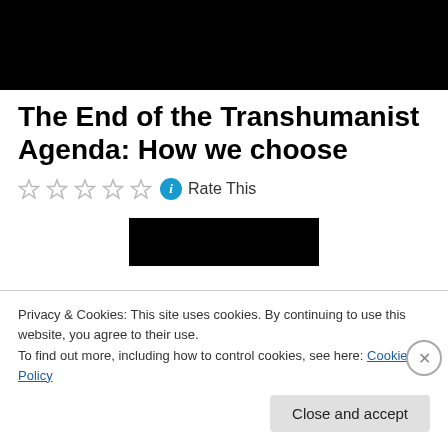[Figure (other): Black banner image at top of page]
The End of the Transhumanist Agenda: How we choose
☆☆☆☆☆ ℹ Rate This
[Figure (other): Black rectangle image in middle of page]
Privacy & Cookies: This site uses cookies. By continuing to use this website, you agree to their use.
To find out more, including how to control cookies, see here: Cookie Policy
Close and accept